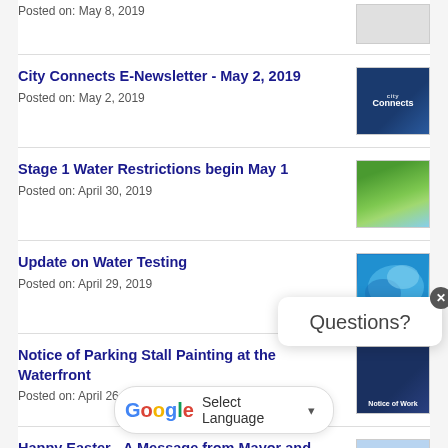Posted on: May 8, 2019
City Connects E-Newsletter - May 2, 2019
Posted on: May 2, 2019
[Figure (photo): City Connects E-Newsletter thumbnail image with dark blue background]
Stage 1 Water Restrictions begin May 1
Posted on: April 30, 2019
[Figure (photo): Water sprinkler on green grass thumbnail image]
Update on Water Testing
Posted on: April 29, 2019
[Figure (photo): Water wave blue thumbnail image]
Notice of Parking Stall Painting at the Waterfront
Posted on: April 26, 2019
[Figure (photo): Notice of Work dark blue thumbnail image]
Happy Easter - A Message from Mayor and Council.
Posted on: April
[Figure (photo): White Rock City by the Sea logo and people thumbnail]
Questions?
Select Language